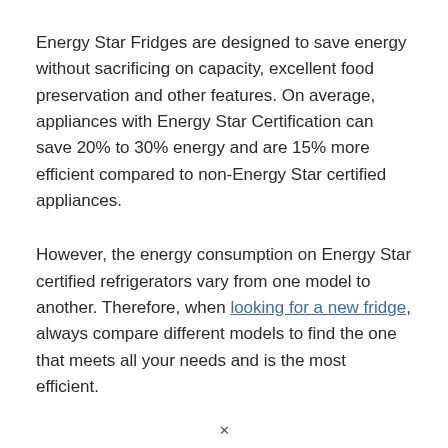Energy Star Fridges are designed to save energy without sacrificing on capacity, excellent food preservation and other features. On average, appliances with Energy Star Certification can save 20% to 30% energy and are 15% more efficient compared to non-Energy Star certified appliances.
However, the energy consumption on Energy Star certified refrigerators vary from one model to another. Therefore, when looking for a new fridge, always compare different models to find the one that meets all your needs and is the most efficient.